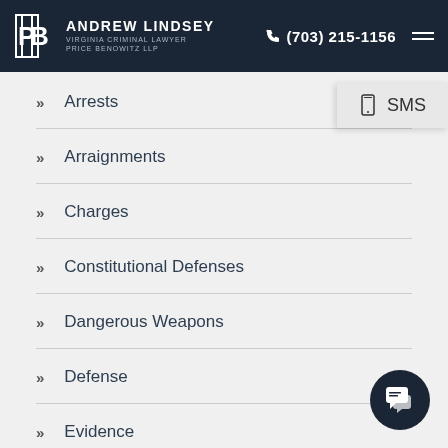Andrew Lindsey Virginia Criminal Lawyer Price Benowitz LLP | (703) 215-1156
[Figure (screenshot): SMS popup widget showing a phone icon and the text SMS]
Arrests
Arraignments
Charges
Constitutional Defenses
Dangerous Weapons
Defense
Evidence
Felony Gun Possession
[Figure (illustration): Dark navy circular chat/messaging button with speech bubble icons]